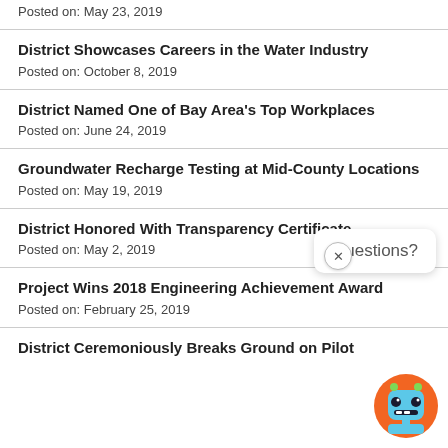Posted on: May 23, 2019
District Showcases Careers in the Water Industry
Posted on: October 8, 2019
District Named One of Bay Area's Top Workplaces
Posted on: June 24, 2019
Groundwater Recharge Testing at Mid-County Locations
Posted on: May 19, 2019
District Honored With Transparency Certificate
Posted on: May 2, 2019
Project Wins 2018 Engineering Achievement Award
Posted on: February 25, 2019
District Ceremoniously Breaks Ground on Pilot